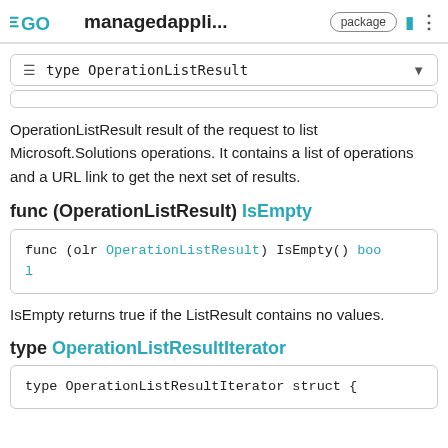GO managedappli... package
≡ type OperationListResult
OperationListResult result of the request to list Microsoft.Solutions operations. It contains a list of operations and a URL link to get the next set of results.
func (OperationListResult) IsEmpty
func (olr OperationListResult) IsEmpty() bool
IsEmpty returns true if the ListResult contains no values.
type OperationListResultIterator
type OperationListResultIterator struct {